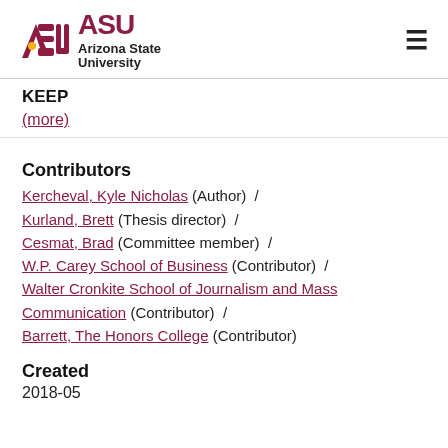ASU Arizona State University
KEEP
(more)
Contributors
Kercheval, Kyle Nicholas (Author)  /
Kurland, Brett (Thesis director)  /
Cesmat, Brad (Committee member)  /
W.P. Carey School of Business (Contributor)  /
Walter Cronkite School of Journalism and Mass Communication (Contributor)  /
Barrett, The Honors College (Contributor)
Created
2018-05